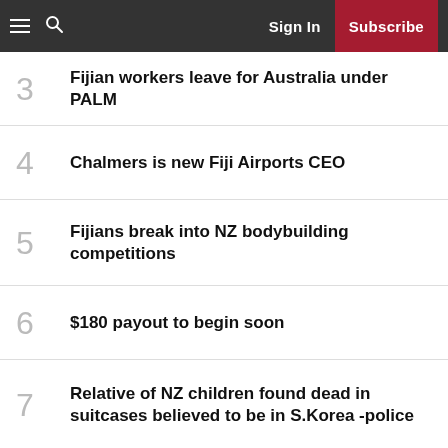Sign In | Subscribe
3 Fijian workers leave for Australia under PALM
4 Chalmers is new Fiji Airports CEO
5 Fijians break into NZ bodybuilding competitions
6 $180 payout to begin soon
7 Relative of NZ children found dead in suitcases believed to be in S.Korea -police